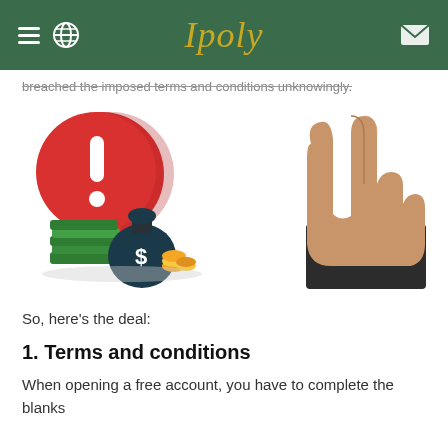Ipoly
breached the imposed terms and conditions unknowingly.
[Figure (illustration): Illustration showing a red speech bubble with white exclamation mark, a dark money bag with dollar sign, stacks of green cash, gold coins, and a hand making a stop gesture wearing a dark suit.]
So, here's the deal:
1. Terms and conditions
When opening a free account, you have to complete the blanks